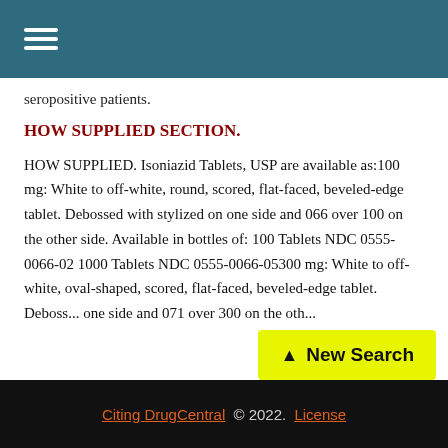☰ (hamburger menu)
seropositive patients.
HOW SUPPLIED SECTION.
HOW SUPPLIED. Isoniazid Tablets, USP are available as:100 mg: White to off-white, round, scored, flat-faced, beveled-edge tablet. Debossed with stylized on one side and 066 over 100 on the other side. Available in bottles of: 100 Tablets NDC 0555-0066-02 1000 Tablets NDC 0555-0066-05300 mg: White to off-white, oval-shaped, scored, flat-faced, beveled-edge tablet. Deboss... one side and 071 over 300 on the oth...
Citing DrugCentral © 2022. License